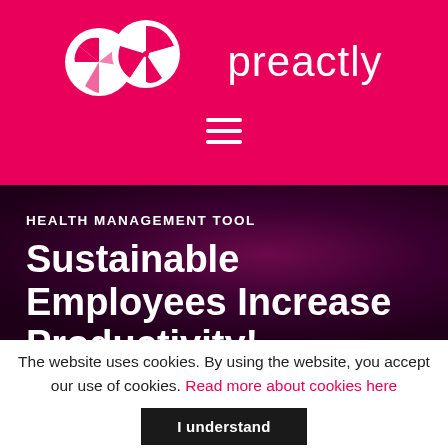[Figure (logo): Preactly logo with leaf/feather icon and wordmark 'preactly' in white on pink/magenta background with hamburger menu icon below]
HEALTH MANAGEMENT TOOL
Sustainable Employees Increase Productivity!
The website uses cookies. By using the website, you accept our use of cookies. Read more about cookies here
I understand